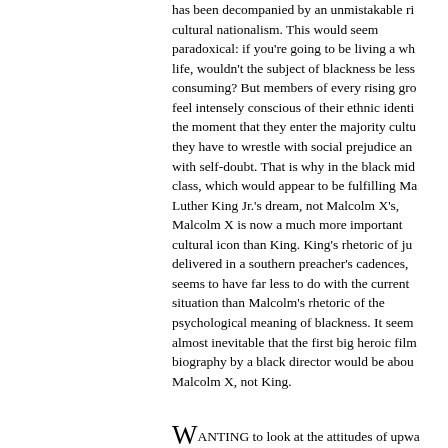has been decompanied by an unmistakable rise in cultural nationalism. This would seem paradoxical: if you're going to be living a white life, wouldn't the subject of blackness be less consuming? But members of every rising group feel intensely conscious of their ethnic identity the moment that they enter the majority culture; they have to wrestle with social prejudice and with self-doubt. That is why in the black middle class, which would appear to be fulfilling Martin Luther King Jr.'s dream, not Malcolm X's, Malcolm X is now a much more important cultural icon than King. King's rhetoric of justice, delivered in a southern preacher's cadences, seems to have far less to do with the current situation than Malcolm's rhetoric of the psychological meaning of blackness. It seems almost inevitable that the first big heroic film biography by a black director would be about Malcolm X, not King.
Wanting to look at the attitudes of upwardly mobile African-Americans on their own terms, rather than viewing them through the lens of